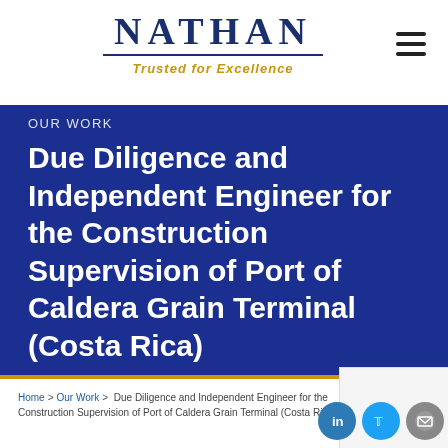NATHAN — Trusted for Excellence
OUR WORK
Due Diligence and Independent Engineer for the Construction Supervision of Port of Caldera Grain Terminal (Costa Rica)
Home > Our Work > Due Diligence and Independent Engineer for the Construction Supervision of Port of Caldera Grain Terminal (Costa Rica)